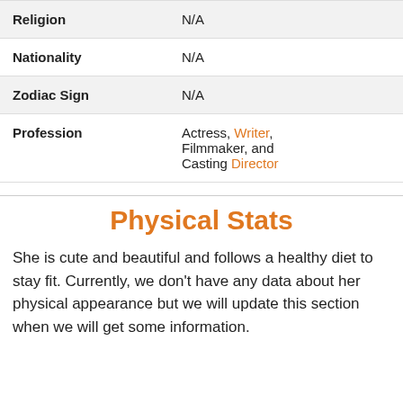| Religion | N/A |
| Nationality | N/A |
| Zodiac Sign | N/A |
| Profession | Actress, Writer, Filmmaker, and Casting Director |
Physical Stats
She is cute and beautiful and follows a healthy diet to stay fit. Currently, we don't have any data about her physical appearance but we will update this section when we will get some information.